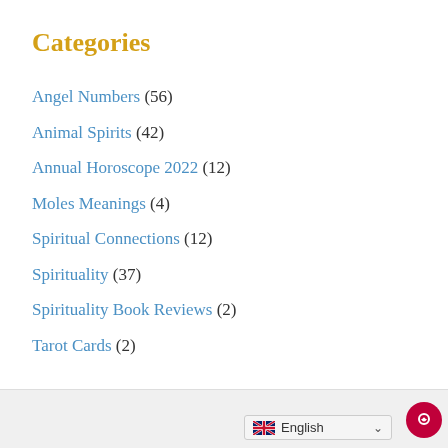Categories
Angel Numbers (56)
Animal Spirits (42)
Annual Horoscope 2022 (12)
Moles Meanings (4)
Spiritual Connections (12)
Spirituality (37)
Spirituality Book Reviews (2)
Tarot Cards (2)
English